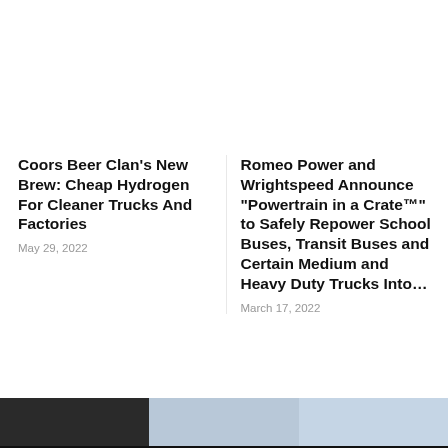Coors Beer Clan's New Brew: Cheap Hydrogen For Cleaner Trucks And Factories
May 29, 2022
Romeo Power and Wrightspeed Announce “Powertrain in a Crate™” to Safely Repower School Buses, Transit Buses and Certain Medium and Heavy Duty Trucks Into…
March 17, 2022
[Figure (photo): Three thumbnail images in a row: dark/truck image on left, blue-tinted image in center, light blue image on right]
We use cookies to ensure that we give you the best experience on our website. If you continue to use this site we will assume that you are happy with it.
Ok